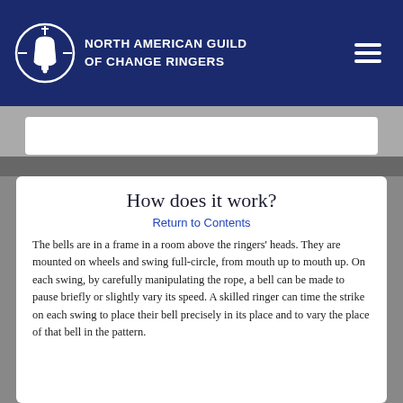North American Guild of Change Ringers
How does it work?
Return to Contents
The bells are in a frame in a room above the ringers' heads. They are mounted on wheels and swing full-circle, from mouth up to mouth up. On each swing, by carefully manipulating the rope, a bell can be made to pause briefly or slightly vary its speed. A skilled ringer can time the strike on each swing to place their bell precisely in its place and to vary the place of that bell in the pattern.